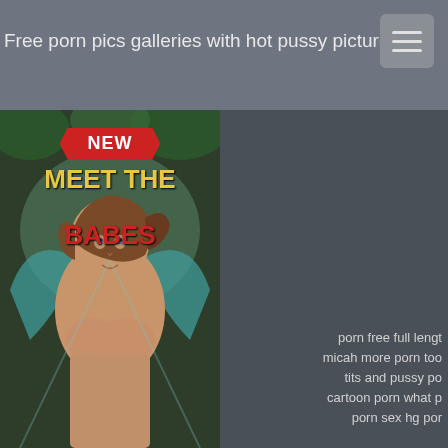Free porn pics galleries with hot pussy pictures
[Figure (illustration): Animated/illustrated advertisement banner showing a fantasy fairy character with text 'NEW' in red ribbon badge, 'MEET THE' in yellow bold text, and 'BABES' in red bold text]
porn free full lengt
micah more porn too
tits and pussy po
cartoon porn what p
porn sex hq por